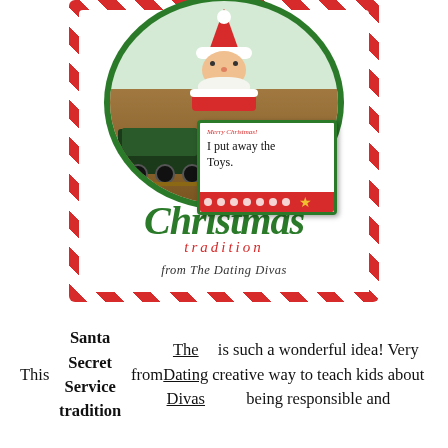[Figure (illustration): A Christmas-themed card graphic with red and white candy-cane striped border. Inside is a green oval frame containing a Santa Claus illustration at top and a photo of toy trains below. A handwritten note card reads 'Merry Christmas! I put away the Toys.' with a red polka dot strip at bottom. Below the oval the card text reads 'a new Christmas tradition from The Dating Divas' in festive script and serif fonts.]
This Santa Secret Service tradition from The Dating Divas is such a wonderful idea! Very creative way to teach kids about being responsible and